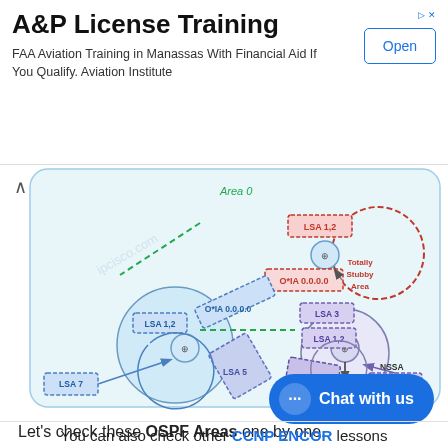[Figure (infographic): Advertisement banner for A&P License Training with Open button]
[Figure (network-graph): OSPF Areas network diagram showing Totally Stubby Area, Totally Stubby NSSA, NSSA, and Area 0 with LSA types (LSA 1,2 LSA 3, LSA 5, LSA 7, O*IA 0.0.0.0) and routers connected by dashed lines]
Let's check these OSPF Areas one by one.
You can also check other CCNP ENCOR lessons